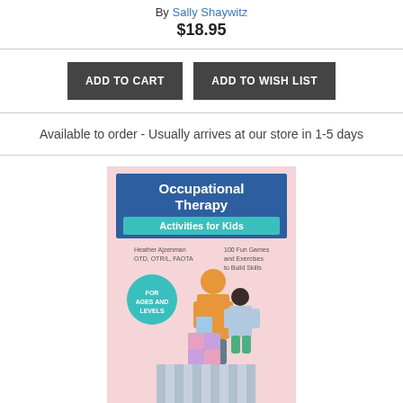By Sally Shaywitz
$18.95
ADD TO CART   ADD TO WISH LIST
Available to order - Usually arrives at our store in 1-5 days
[Figure (photo): Book cover: Occupational Therapy Activities for Kids]
Occupational Therapy Activities for Kids: 100 Fun Games and Exercises to Build Skills (Paperback)
By Heather Ajzenman
$19.99